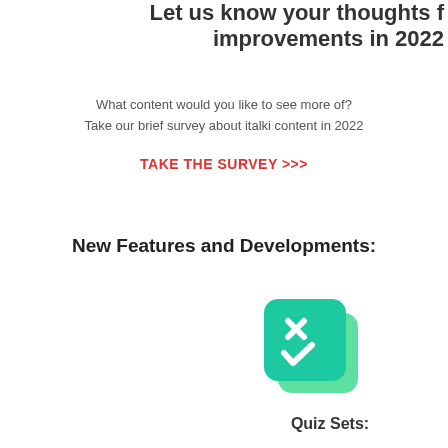Let us know your thoughts for improvements in 2022
What content would you like to see more of?
Take our brief survey about italki content in 2022
TAKE THE SURVEY >>>
New Features and Developments:
[Figure (illustration): Quiz sets icon: a teal/green rounded rectangle with a white X and white checkmark symbol]
Quiz Sets: